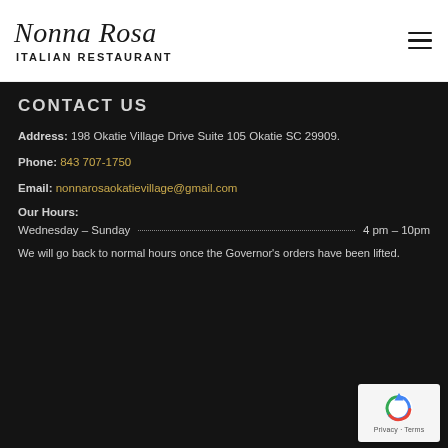Nonna Rosa Italian Restaurant
CONTACT US
Address: 198 Okatie Village Drive Suite 105 Okatie SC 29909.
Phone: 843 707-1750
Email: nonnarosaokatievillage@gmail.com
Our Hours:
Wednesday - Sunday   4 pm – 10pm
We will go back to normal hours once the Governor's orders have been lifted.
[Figure (logo): reCAPTCHA logo with Privacy and Terms text]